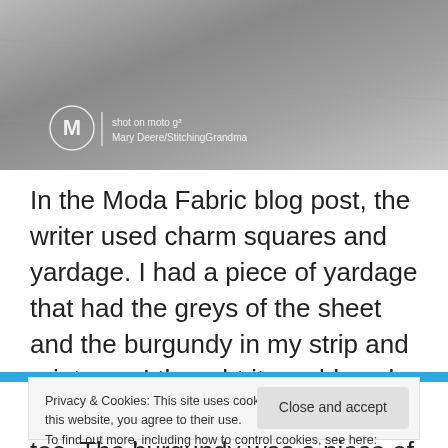[Figure (photo): Grey fabric photograph with Motorola Moto G logo overlay and text 'shot on moto g² / Mary Deere/StitchingGrandma']
In the Moda Fabric blog post, the writer used charm squares and yardage. I had a piece of yardage that had the greys of the sheet and the burgundy in my strip and prints, so I thought it would work well. It was a nice feeling fabric too. The burgundy was a piece of wide backing in the scrap pile.
Privacy & Cookies: This site uses cookies. By continuing to use this website, you agree to their use.
To find out more, including how to control cookies, see here: Cookie Policy